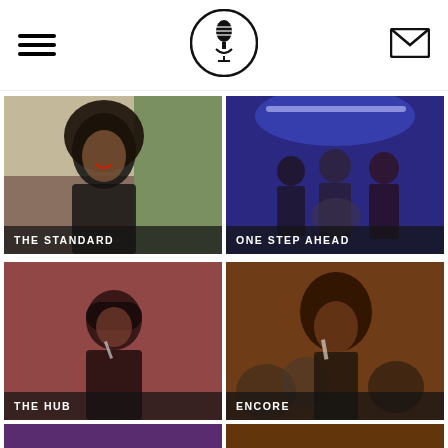Navigation header with hamburger menu, microphone logo, and mail icon
[Figure (photo): Photo of a smiling Black woman with natural hair outdoors. Label: THE STANDARD]
[Figure (photo): Photo of performers on stage with blue lighting. Label: ONE STEP AHEAD]
[Figure (photo): Photo of a female singer performing with microphone in reddish/pink tones. Label: THE HUB]
[Figure (photo): Photo of a woman singing at an event/party. Label: ENCORE]
[Figure (photo): Partial photo at bottom left, cropped]
[Figure (photo): Partial photo at bottom right, cropped]